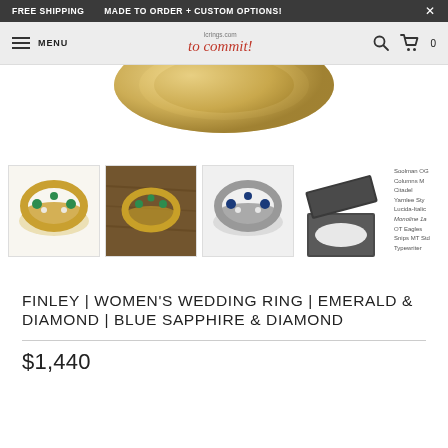FREE SHIPPING   MADE TO ORDER + CUSTOM OPTIONS!   X
MENU   lcrings.com to commit!   0
[Figure (photo): Close-up of a gold ring with gemstones on white background]
[Figure (photo): Four product thumbnail images: gold emerald ring, ring on wood, silver sapphire ring, ring gift box. Font list overlay on right.]
FINLEY | WOMEN'S WEDDING RING | EMERALD & DIAMOND | BLUE SAPPHIRE & DIAMOND
$1,440